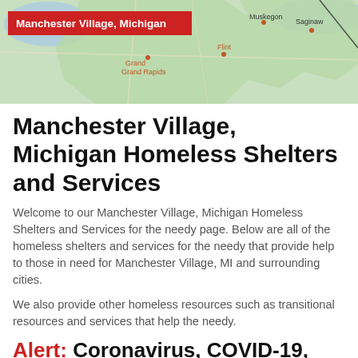[Figure (map): Map of Michigan with label 'Manchester Village, Michigan' in a red rectangle in the upper left. Map shows city labels including Michigan, Muskegon, Saginaw, Grand Rapids, Flint, and others on a green/beige background.]
Manchester Village, Michigan Homeless Shelters and Services
Welcome to our Manchester Village, Michigan Homeless Shelters and Services for the needy page. Below are all of the homeless shelters and services for the needy that provide help to those in need for Manchester Village, MI and surrounding cities.
We also provide other homeless resources such as transitional resources and services that help the needy.
Alert: Coronavirus, COVID-19, Rental Assistance Programs
Looking for government and non-profit programs to